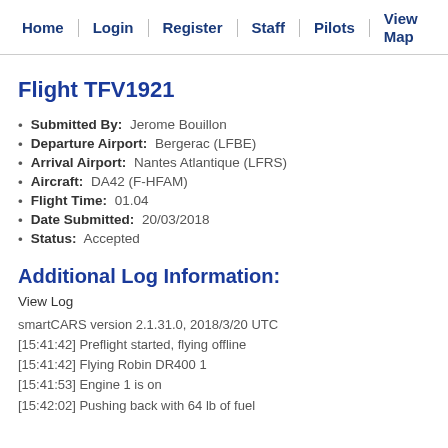Home | Login | Register | Staff | Pilots | View Map
Flight TFV1921
Submitted By: Jerome Bouillon
Departure Airport: Bergerac (LFBE)
Arrival Airport: Nantes Atlantique (LFRS)
Aircraft: DA42 (F-HFAM)
Flight Time: 01.04
Date Submitted: 20/03/2018
Status: Accepted
Additional Log Information:
View Log
smartCARS version 2.1.31.0, 2018/3/20 UTC
[15:41:42] Preflight started, flying offline
[15:41:42] Flying Robin DR400 1
[15:41:53] Engine 1 is on
[15:42:02] Pushing back with 64 lb of fuel